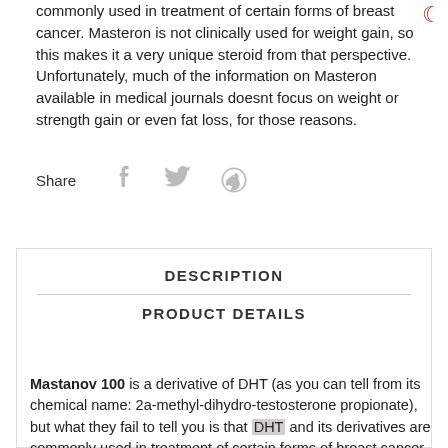commonly used in treatment of certain forms of breast cancer. Masteron is not clinically used for weight gain, so this makes it a very unique steroid from that perspective. Unfortunately, much of the information on Masteron available in medical journals doesnt focus on weight or strength gain or even fat loss, for those reasons.
Share
DESCRIPTION
PRODUCT DETAILS
Mastanov 100 is a derivative of DHT (as you can tell from its chemical name: 2a-methyl-dihydro-testosterone propionate), but what they fail to tell you is that DHT and its derivatives are commonly used in treatment of certain forms of breast cancer. Masteron is not clinically used for